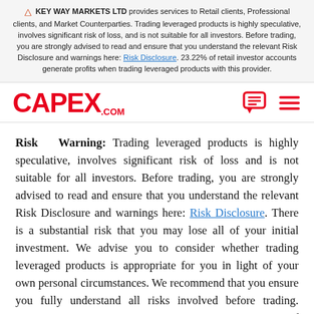KEY WAY MARKETS LTD provides services to Retail clients, Professional clients, and Market Counterparties. Trading leveraged products is highly speculative, involves significant risk of loss, and is not suitable for all investors. Before trading, you are strongly advised to read and ensure that you understand the relevant Risk Disclosure and warnings here: Risk Disclosure. 23.22% of retail investor accounts generate profits when trading leveraged products with this provider.
[Figure (logo): CAPEX.COM logo in red, with navigation icons (chat bubble and hamburger menu) on the right]
Risk Warning: Trading leveraged products is highly speculative, involves significant risk of loss and is not suitable for all investors. Before trading, you are strongly advised to read and ensure that you understand the relevant Risk Disclosure and warnings here: Risk Disclosure. There is a substantial risk that you may lose all of your initial investment. We advise you to consider whether trading leveraged products is appropriate for you in light of your own personal circumstances. We recommend that you ensure you fully understand all risks involved before trading. 23.22% of retail investor accounts generate profits when trading